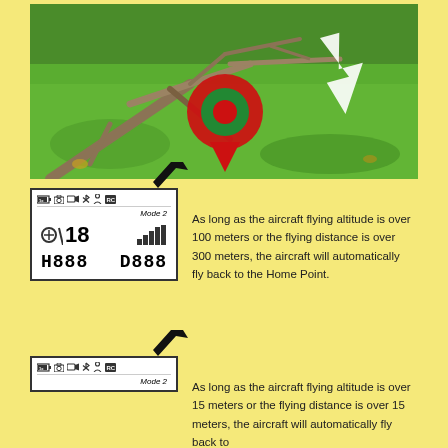[Figure (photo): Outdoor photo showing a grassy lawn with dry tree branches/twigs on the ground. A red location pin marker with a target/bullseye symbol is overlaid on the image, with a white arrow pointing to a spot on the ground, indicating a Home Point location.]
[Figure (schematic): DJI drone controller display screen showing icons at top (battery, camera, video, bluetooth, remote, RC), Mode 2 text, altitude/signal indicators (18 and signal bars), H888 and D888 readings. A black arrow points to the RC icon at top right.]
As long as the aircraft flying altitude is over 100 meters or the flying distance is over 300 meters, the aircraft will automatically fly back to the Home Point.
[Figure (schematic): DJI drone controller display screen (same layout as above) with Mode 2 text. A black arrow points to the RC icon at top right.]
As long as the aircraft flying altitude is over 15 meters or the flying distance is over 15 meters, the aircraft will automatically fly back to